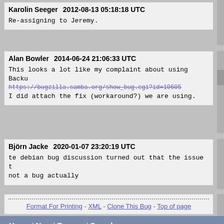Karolin Seeger    2012-08-13 05:18:18 UTC
Re-assigning to Jeremy.
Alan Bowler    2014-06-24 21:06:33 UTC
This looks a lot like my complaint about using Backu
https://bugzilla.samba.org/show_bug.cgi?id=10605
I did attach the fix (workaround?) we are using.
Björn Jacke    2020-01-07 23:20:19 UTC
te debian bug discussion turned out that the issue t
not a bug actually
Format For Printing - XML - Clone This Bug - Top of page
Home | New | Browse | Search | [?] | Reports | Requests | Help | New Account | Log In | Forgot Password